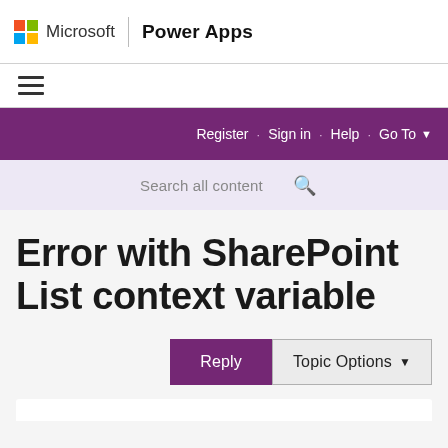Microsoft | Power Apps
[Figure (logo): Microsoft colorful four-square logo followed by text Microsoft | Power Apps]
[Figure (screenshot): Hamburger menu icon (three horizontal lines)]
[Figure (screenshot): Purple navigation bar with links: Register, Sign in, Help, Go To]
[Figure (screenshot): Search bar with placeholder text 'Search all content' and search icon]
Error with SharePoint List context variable
Reply | Topic Options